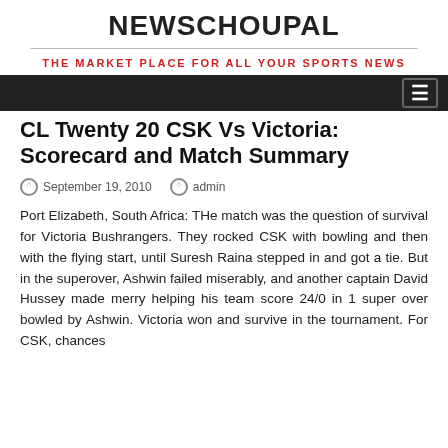NEWSCHOUPAL
THE MARKET PLACE FOR ALL YOUR SPORTS NEWS
CL Twenty 20 CSK Vs Victoria: Scorecard and Match Summary
September 19, 2010  admin
Port Elizabeth, South Africa: THe match was the question of survival for Victoria Bushrangers. They rocked CSK with bowling and then with the flying start, until Suresh Raina stepped in and got a tie. But in the superover, Ashwin failed miserably, and another captain David Hussey made merry helping his team score 24/0 in 1 super over bowled by Ashwin. Victoria won and survive in the tournament. For CSK, chances